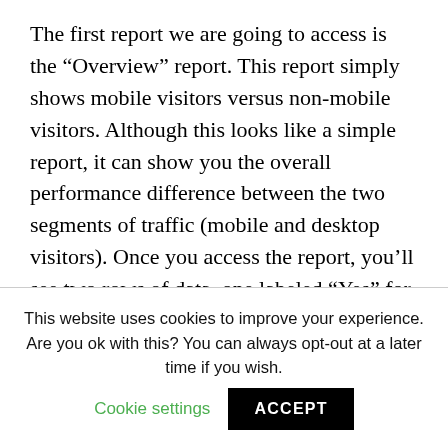The first report we are going to access is the “Overview” report. This report simply shows mobile visitors versus non-mobile visitors. Although this looks like a simple report, it can show you the overall performance difference between the two segments of traffic (mobile and desktop visitors). Once you access the report, you’ll see two rows of data, one labeled “Yes” for mobile visitors, and the other “No” for non-mobile visitors. View the screenshot below.
This website uses cookies to improve your experience. Are you ok with this? You can always opt-out at a later time if you wish. Cookie settings ACCEPT